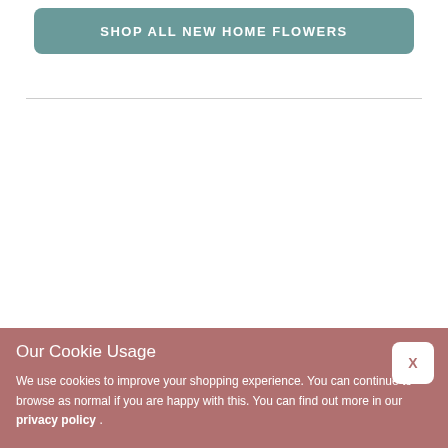[Figure (other): Button with teal/muted green-blue background and white bold uppercase text reading SHOP ALL NEW HOME FLOWERS]
Our Cookie Usage
We use cookies to improve your shopping experience. You can continue to browse as normal if you are happy with this. You can find out more in our privacy policy .